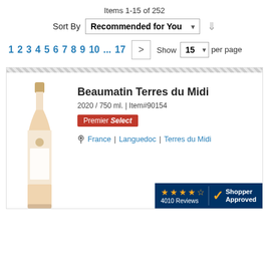Items 1-15 of 252
Sort By  Recommended for You
1 2 3 4 5 6 7 8 9 10 ... 17  >  Show  15  per page
Beaumatin Terres du Midi
2020 / 750 ml. | Item#90154
Premier Select
France | Languedoc | Terres du Midi
[Figure (other): Shopper Approved badge with 4 stars and 4010 Reviews]